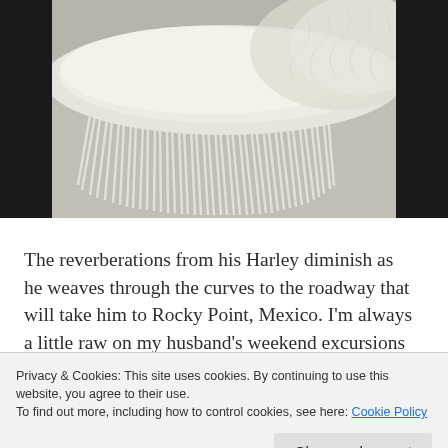[Figure (photo): Photo of a cream/white fringed textile or blanket/pillow on a gray couch or sofa surface, shot from above.]
The reverberations from his Harley diminish as he weaves through the curves to the roadway that will take him to Rocky Point, Mexico. I'm always a little raw on my husband's weekend excursions from the perspective of safety – both his and mine. But as the minutes pass, my frazzled soul, tarnished from a retirement schedule that needs to breathe, settles
Privacy & Cookies: This site uses cookies. By continuing to use this website, you agree to their use.
To find out more, including how to control cookies, see here: Cookie Policy
Close and accept